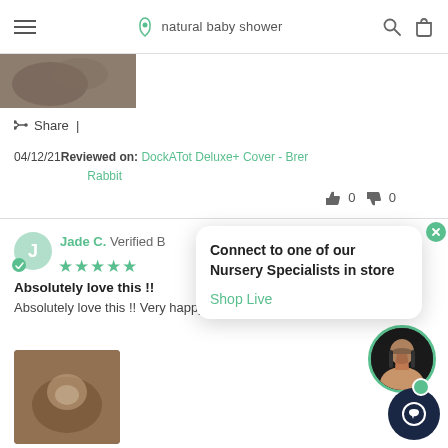natural baby shower
[Figure (photo): Product image thumbnail - rocky/stone background]
Share |
04/12/21 Reviewed on: DockATot Deluxe+ Cover - Brer Rabbit
thumbs up 0  thumbs down 0
Connect to one of our Nursery Specialists in store
Shop Live
Jade C. Verified B
★★★★★
Absolutely love this !!
Absolutely love this !! Very happy, looks great! :)
[Figure (photo): Baby in a DockATot product photo, review image]
[Figure (photo): Shop Live nursery specialist agent avatar - woman with headset]
[Figure (other): Chat support button - dark navy circle with chat icon]